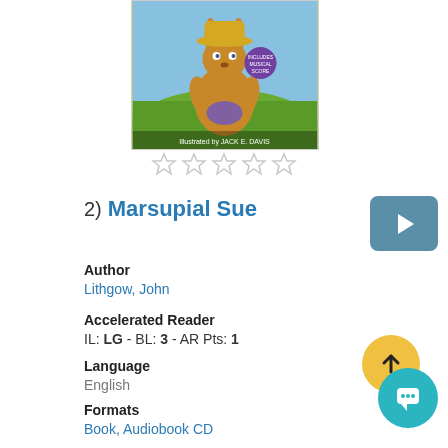[Figure (illustration): Book cover of Marsupial Sue illustrated by Jack E. Davis, showing a cartoon kangaroo wearing a yellow hat standing in green grass, with a badge saying Includes Musical Score]
☆☆☆☆☆ (5 empty star rating)
2) Marsupial Sue
Author
Lithgow, John
Accelerated Reader
IL: LG - BL: 3 - AR Pts: 1
Language
English
Formats
Book, Audiobook CD